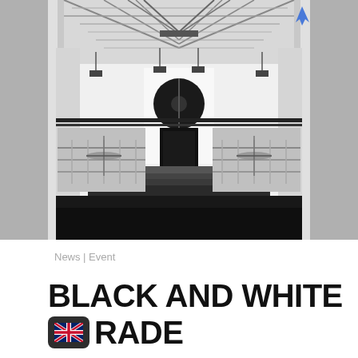[Figure (photo): Black and white interior photo of a large industrial/event hall with steel roof trusses, glass ceiling, a circular black artwork on a white wall, steps leading to a stage area, and glass railings.]
News | Event
BLACK AND WHITE RADE